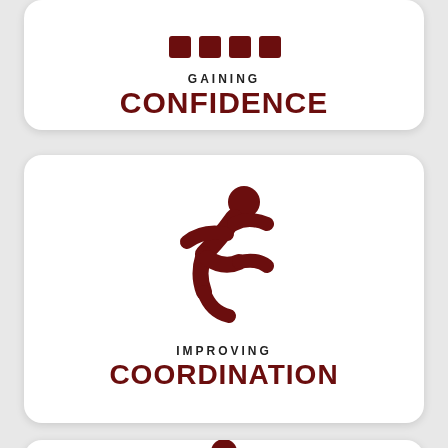[Figure (illustration): Dark red icon showing a bar/grid chart symbol representing confidence, partially cropped at top of first card]
GAINING
CONFIDENCE
[Figure (illustration): Dark red running person icon representing coordination]
IMPROVING
COORDINATION
[Figure (illustration): Dark red person with arms raised icon, partially visible at bottom of page]